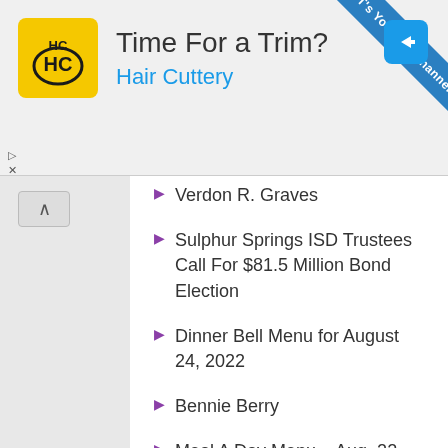[Figure (logo): Hair Cuttery advertisement banner with HC logo, 'Time For a Trim?' heading and 'Hair Cuttery' subtitle in blue]
Verdon R. Graves
Sulphur Springs ISD Trustees Call For $81.5 Million Bond Election
Dinner Bell Menu for August 24, 2022
Bennie Berry
Meal A Day Menu – Aug. 22-26, 2022